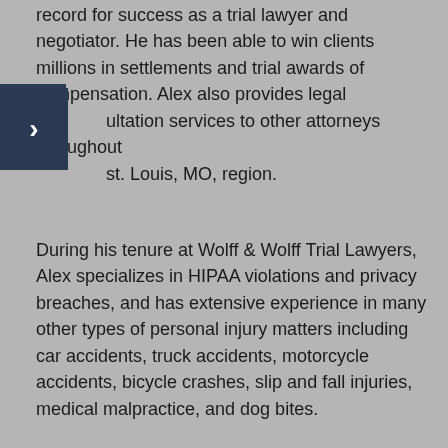record for success as a trial lawyer and negotiator. He has been able to win clients millions in settlements and trial awards of compensation. Alex also provides legal consultation services to other attorneys throughout the St. Louis, MO, region.
During his tenure at Wolff & Wolff Trial Lawyers, Alex specializes in HIPAA violations and privacy breaches, and has extensive experience in many other types of personal injury matters including car accidents, truck accidents, motorcycle accidents, bicycle crashes, slip and fall injuries, medical malpractice, and dog bites.
Alex earned his Bachelor of Sciences at Cornell University in Ithaca, NY. He received his J.D. at Washington University in St. Louis. He is able to practice law in the states of Missouri and Illinois.
This is approved for 1.2 CLE hours through the Missouri Bar Association, and NFPA General CLE Credits are pending.